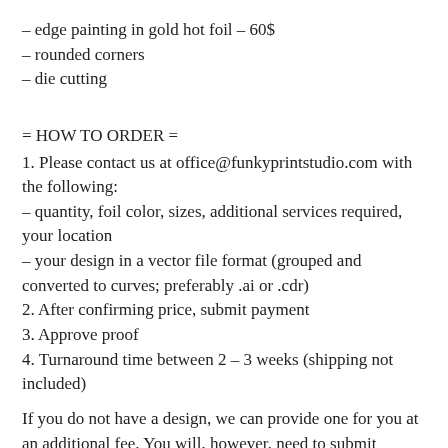– edge painting in gold hot foil – 60$
– rounded corners
– die cutting
= HOW TO ORDER =
1. Please contact us at office@funkyprintstudio.com with the following:
– quantity, foil color, sizes, additional services required, your location
– your design in a vector file format (grouped and converted to curves; preferably .ai or .cdr)
2. After confirming price, submit payment
3. Approve proof
4. Turnaround time between 2 – 3 weeks (shipping not included)
If you do not have a design, we can provide one for you at an additional fee. You will, however, need to submit